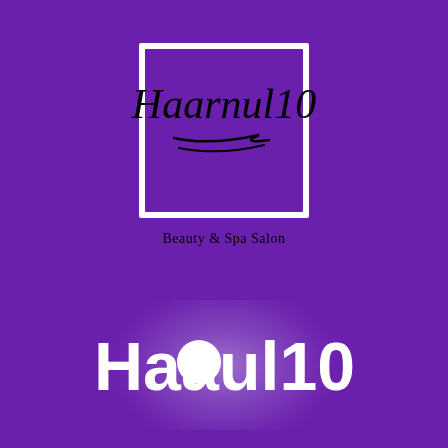[Figure (logo): Haarnul10 Beauty & Spa Salon logo: script handwriting 'Haarnul10' with underline strokes inside a white-bordered square, with 'Beauty & Spa Salon' text beneath, on purple background]
[Figure (logo): Haarnul10 text logo in bold white sans-serif font with a white circle replacing the 'n', on a light purple radial glow circle against purple background]